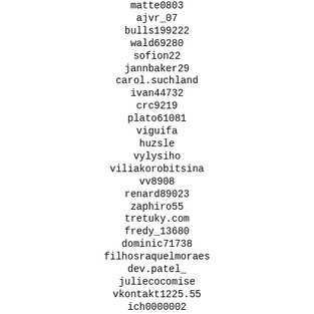matte0803
ajvr_07
bulls199222
wald69280
sofion22
jannbaker29
carol.suchland
ivan44732
crc9219
plato61081
viguifa
huzsle
vylysiho
viliakorobitsina
vv8908
renard89023
zaphiro55
tretuky.com
fredy_13680
dominic71738
filhosraquelmoraes
dev.patel_
juliecocomise
vkontakt1225.55
ich0000002
ufuckingsuck
windowservicecorp
zackariah34891
zc212375
ulrich22455
alicerraies303